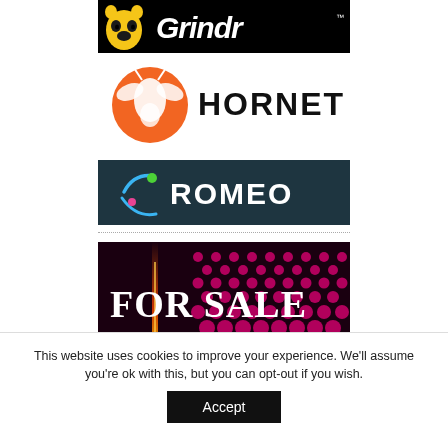[Figure (logo): Grindr logo: black background with yellow bear face icon and 'Grindr' in white bold italic sans-serif text with TM mark]
[Figure (logo): Hornet logo: orange circle with white hornet illustration, 'HORNET' in bold black sans-serif text]
[Figure (logo): Romeo logo: dark teal background with colorful orbit/ring icon, 'ROMEO' in white bold sans-serif text]
[Figure (illustration): FOR SALE promotional image: dark background with pink/magenta dot grid pattern, vertical orange/red light streak, 'FOR SALE' in large white serif text, 'PRESTIGIOUS' in smaller white spaced text at bottom]
This website uses cookies to improve your experience. We'll assume you're ok with this, but you can opt-out if you wish.
Accept